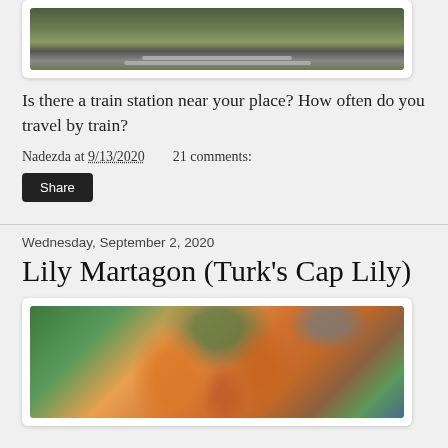[Figure (photo): Photo of a train station with railway tracks and green vegetation, partially visible at top of page]
Is there a train station near your place? How often do you travel by train?
Nadezda at 9/13/2020    21 comments:
Share
Wednesday, September 2, 2020
Lily Martagon (Turk's Cap Lily)
[Figure (photo): Photo of orange Lily Martagon (Turk's Cap Lily) flowers blooming against a background of green trees and blue sky]